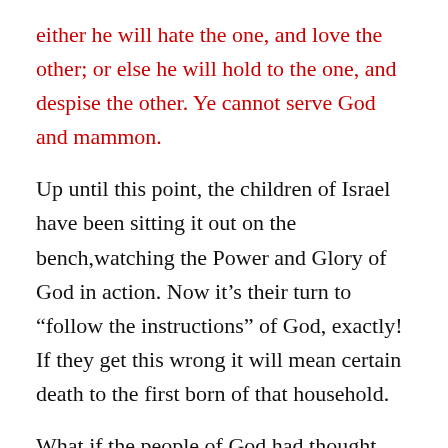either he will hate the one, and love the other; or else he will hold to the one, and despise the other. Ye cannot serve God and mammon.
Up until this point, the children of Israel have been sitting it out on the bench,watching the Power and Glory of God in action. Now it’s their turn to “follow the instructions” of God, exactly! If they get this wrong it will mean certain death to the first born of that household.
What if the people of God had thought and decided, “maybe I won’t put the blood on the lentil of the door, just the door posts,” only to have their first born child be taken by the death angel. I believe the children of Israel had witnessed enough of God’s power through all